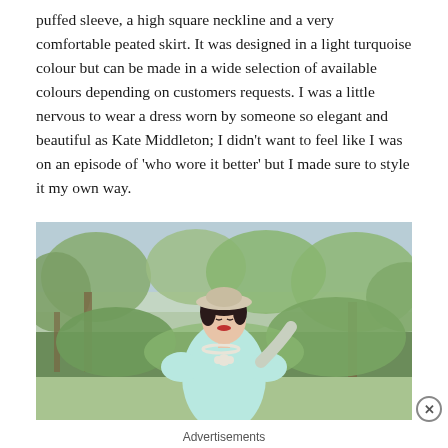puffed sleeve, a high square neckline and a very comfortable peated skirt. It was designed in a light turquoise colour but can be made in a wide selection of available colours depending on customers requests. I was a little nervous to wear a dress worn by someone so elegant and beautiful as Kate Middleton; I didn't want to feel like I was on an episode of 'who wore it better' but I made sure to style it my own way.
[Figure (photo): A woman in a light turquoise dress with puffed sleeves and a square neckline, wearing a light beige hat and pearl necklace, posing outdoors among trees with one hand raised to her hat. She has dark hair and red lipstick.]
Advertisements